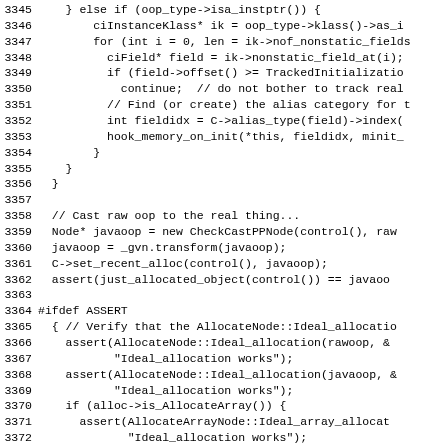[Figure (screenshot): Source code listing in monospace font showing C++ code lines 3345-3374, including conditional logic for oop_type handling, field iteration, memory hook calls, cast operations, and assert blocks under #ifdef ASSERT.]